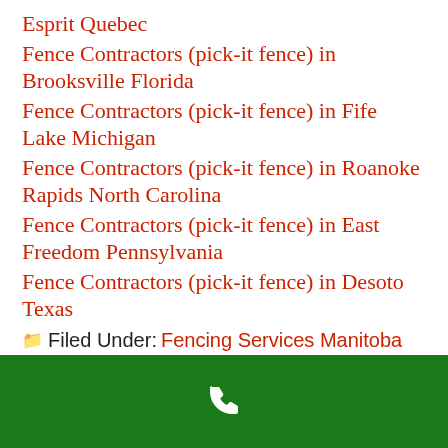Esprit Quebec
Fence Contractors (pick-it fence) in Brooksville Florida
Fence Contractors (pick-it fence) in Fife Lake Michigan
Fence Contractors (pick-it fence) in Roanoke Rapids North Carolina
Fence Contractors (pick-it fence) in East Freedom Pennsylvania
Fence Contractors (pick-it fence) in Desoto Texas
Filed Under: Fencing Services Manitoba
[Figure (other): Green bar with white phone icon at bottom of page]